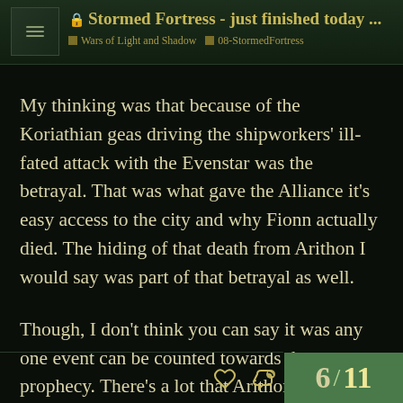Stormed Fortress - just finished today ... | Wars of Light and Shadow | 08-StormedFortress
My thinking was that because of the Koriathian geas driving the shipworkers' ill-fated attack with the Evenstar was the betrayal. That was what gave the Alliance it's easy access to the city and why Fionn actually died. The hiding of that death from Arithon I would say was part of that betrayal as well.
Though, I don't think you can say it was any one event can be counted towards that prophecy. There's a lot that Arithon doesn't know about, in particular his daughter.
6 / 11